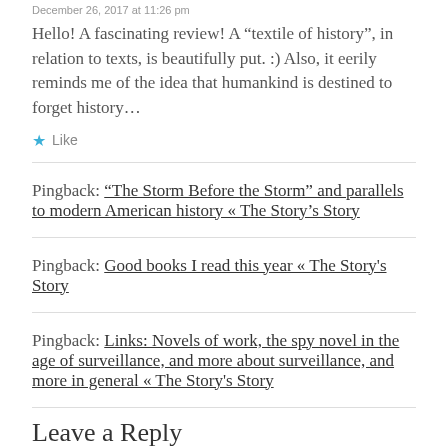December 26, 2017 at 11:26 pm
Hello! A fascinating review! A “textile of history”, in relation to texts, is beautifully put. :) Also, it eerily reminds me of the idea that humankind is destined to forget history…
★ Like
Pingback: “The Storm Before the Storm” and parallels to modern American history « The Story’s Story
Pingback: Good books I read this year « The Story's Story
Pingback: Links: Novels of work, the spy novel in the age of surveillance, and more about surveillance, and more in general « The Story's Story
Leave a Reply